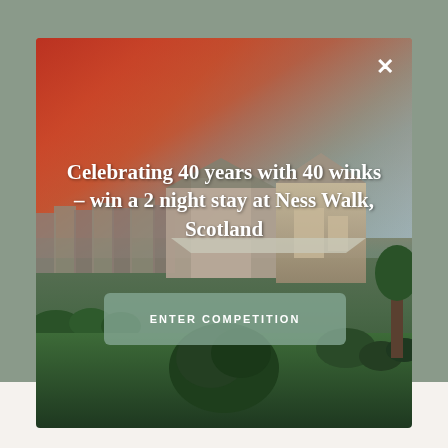[Figure (photo): Modal popup overlay showing a hotel or resort (Ness Walk, Scotland) at dusk with dramatic red and orange sky. The foreground has green lawns and garden shrubs. A close button (×) appears in the top right corner of the modal. A sage-green 'ENTER COMPETITION' button is centered in the lower half of the image.]
Celebrating 40 years with 40 winks – win a 2 night stay at Ness Walk, Scotland
ENTER COMPETITION
The North
Scotland
Chef's table
City breaks